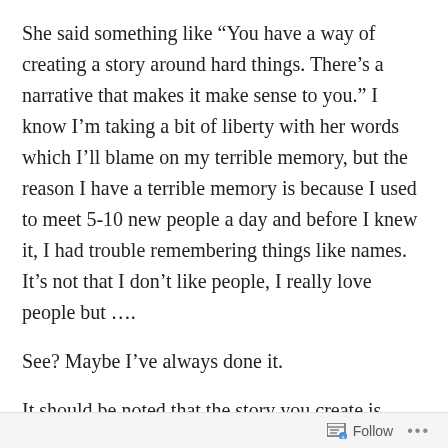She said something like “You have a way of creating a story around hard things. There’s a narrative that makes it make sense to you.” I know I’m taking a bit of liberty with her words which I’ll blame on my terrible memory, but the reason I have a terrible memory is because I used to meet 5-10 new people a day and before I knew it, I had trouble remembering things like names. It’s not that I don’t like people, I really love people but ….
See? Maybe I’ve always done it.
It should be noted that the story you create is always the reason you do something, which is never admirable if it gets you off the hook for failure, but she wasn’t critiquing something I was failing at, she was admiring the way I
Follow •••